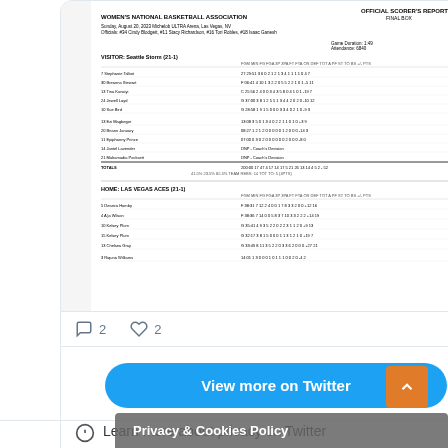[Figure (screenshot): WNBA Official Scorer's Report box score image embedded in tweet card showing visitor Seattle Storm and home Las Vegas Aces stats]
2  2
View more on Twitter
Learn more about privacy on Twitter
Privacy & Cookies Policy